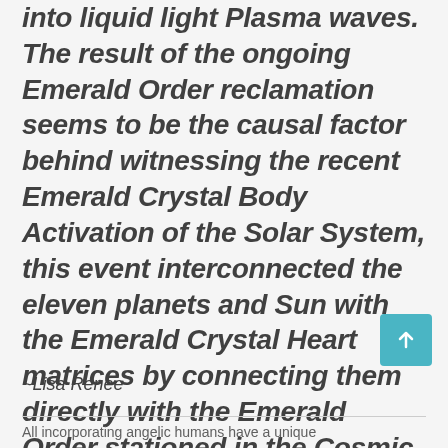into liquid light Plasma waves. The result of the ongoing Emerald Order reclamation seems to be the causal factor behind witnessing the recent Emerald Crystal Body Activation of the Solar System, this event interconnected the eleven planets and Sun with the Emerald Crystal Heart matrices by connecting them directly with the Emerald Order stationed in the Cosmic Founder Domains.”
~Lisa Renee
All incorporating angelic humans have a unique